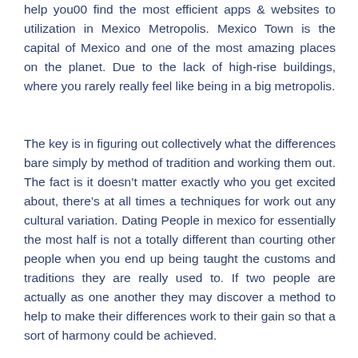help you00 find the most efficient apps & websites to utilization in Mexico Metropolis. Mexico Town is the capital of Mexico and one of the most amazing places on the planet. Due to the lack of high-rise buildings, where you rarely really feel like being in a big metropolis.
The key is in figuring out collectively what the differences bare simply by method of tradition and working them out. The fact is it doesn't matter exactly who you get excited about, there's at all times a techniques for work out any cultural variation. Dating People in mexico for essentially the most half is not a totally different than courting other people when you end up being taught the customs and traditions they are really used to. If two people are actually as one another they may discover a method to help to make their differences work to their gain so that a sort of harmony could be achieved.